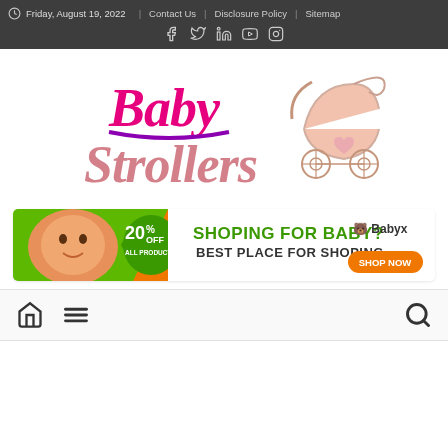Friday, August 19, 2022 | Contact Us | Disclosure Policy | Sitemap
[Figure (logo): Baby Strollers website logo with pink cursive 'Baby Strollers' text and an illustrated pink baby pram/carriage]
[Figure (infographic): Ad banner: baby photo with green background showing '20% OFF ALL PRODUCTS', text 'SHOPING FOR BABY? BEST PLACE FOR SHOPING', Babyx logo with 'SHOP NOW' button]
[Figure (infographic): Navigation bar with home icon, hamburger menu icon, and search icon]